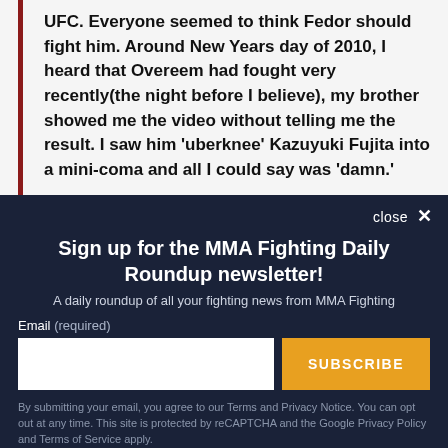UFC. Everyone seemed to think Fedor should fight him. Around New Years day of 2010, I heard that Overeem had fought very recently(the night before I believe), my brother showed me the video without telling me the result. I saw him 'uberknee' Kazuyuki Fujita into a mini-coma and all I could say was 'damn.'
close ×
Sign up for the MMA Fighting Daily Roundup newsletter!
A daily roundup of all your fighting news from MMA Fighting
Email (required)
SUBSCRIBE
By submitting your email, you agree to our Terms and Privacy Notice. You can opt out at any time. This site is protected by reCAPTCHA and the Google Privacy Policy and Terms of Service apply.